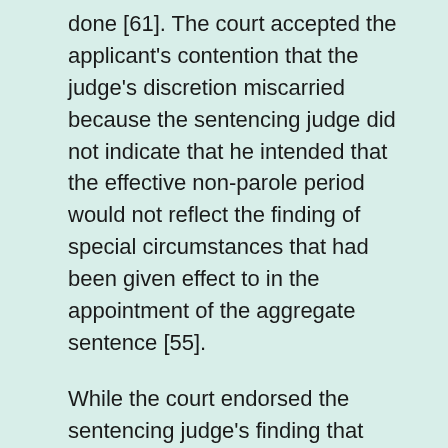done [61]. The court accepted the applicant's contention that the judge's discretion miscarried because the sentencing judge did not indicate that he intended that the effective non-parole period would not reflect the finding of special circumstances that had been given effect to in the appointment of the aggregate sentence [55].
While the court endorsed the sentencing judge's finding that there was an attenuation of the applicant's moral culpability for the sexual offending by reason of his compromised level of intellectual functioning, the court also found that the applicant was, for that reason, an inappropriate vehicle for general deterrence [67]. Furthermore, the court accepted that the applicant had been convicted of multiple charges of assault and offences of stalk and intimidate in a domestic context, both as a juvenile and as an adult, none of which attracted a sentence of imprisonment [28].